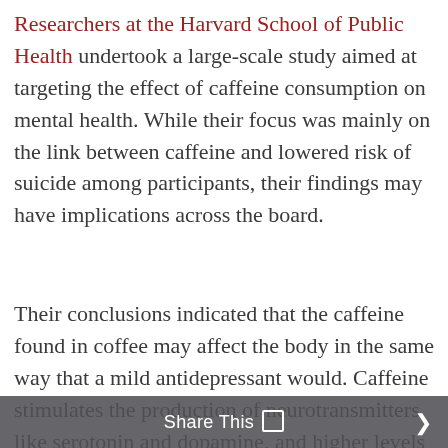Researchers at the Harvard School of Public Health undertook a large-scale study aimed at targeting the effect of caffeine consumption on mental health. While their focus was mainly on the link between caffeine and lowered risk of suicide among participants, their findings may have implications across the board.
Their conclusions indicated that the caffeine found in coffee may affect the body in the same way that a mild antidepressant would. Caffeine stimulates the production of neurotransmitters like serotonin and dopamine, and higher levels of these brain chemicals are linked to a more positive mental outlook.
Share This